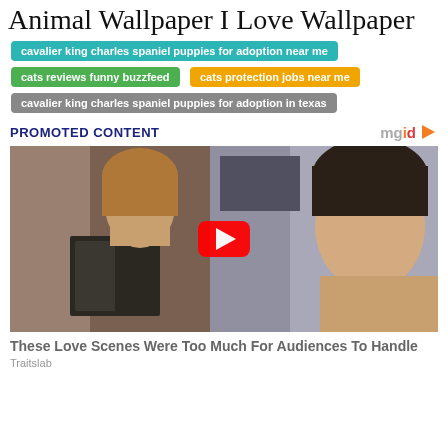Animal Wallpaper I Love Wallpaper
cavalier king charles spaniel puppies for adoption near me
cats reviews funny buzzfeed
cats protection jobs near me
cavalier king charles spaniel puppies for adoption in texas
PROMOTED CONTENT
[Figure (screenshot): Video thumbnail showing a man and woman in an intimate scene, with a YouTube play button overlay]
These Love Scenes Were Too Much For Audiences To Handle
Traitslab